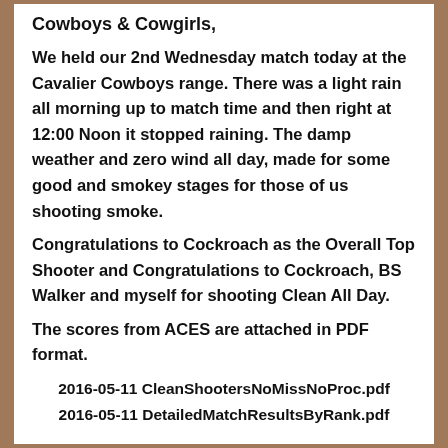Cowboys & Cowgirls,
We held our 2nd Wednesday match today at the Cavalier Cowboys range. There was a light rain all morning up to match time and then right at 12:00 Noon it stopped raining. The damp weather and zero wind all day, made for some good and smokey stages for those of us shooting smoke.
Congratulations to Cockroach as the Overall Top Shooter and Congratulations to Cockroach, BS Walker and myself for shooting Clean All Day.
The scores from ACES are attached in PDF format.
2016-05-11 CleanShootersNoMissNoProc.pdf
2016-05-11 DetailedMatchResultsByRank.pdf